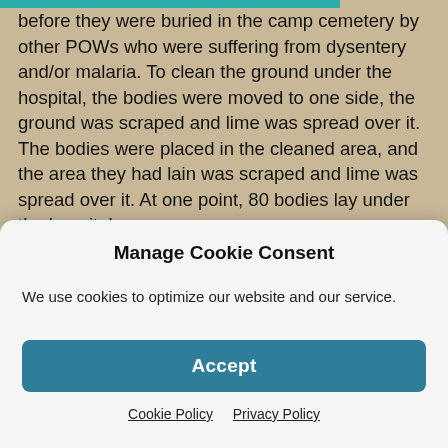before they were buried in the camp cemetery by other POWs who were suffering from dysentery and/or malaria. To clean the ground under the hospital, the bodies were moved to one side, the ground was scraped and lime was spread over it. The bodies were placed in the cleaned area, and the area they had lain was scraped and lime was spread over it. At one point, 80 bodies lay under the hospital.

Work details were sent out on a daily basis. Each day, the American doctors gave a list of names to the Japanese of
Manage Cookie Consent
We use cookies to optimize our website and our service.
Accept
Cookie Policy  Privacy Policy